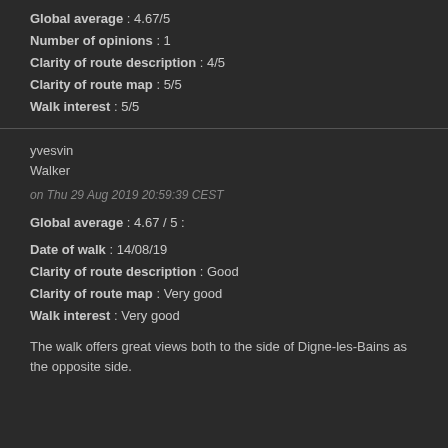Average
Global average : 4.67/5
Number of opinions : 1
Clarity of route description : 4/5
Clarity of route map : 5/5
Walk interest : 5/5
yvesvin
Walker
on Thu 29 Aug 2019 20:59:39 CEST
Global average : 4.67 / 5 :
Date of walk : 14/08/19
Clarity of route description : Good
Clarity of route map : Very good
Walk interest : Very good
The walk offers great views both to the side of Digne-les-Bains as the opposite side.